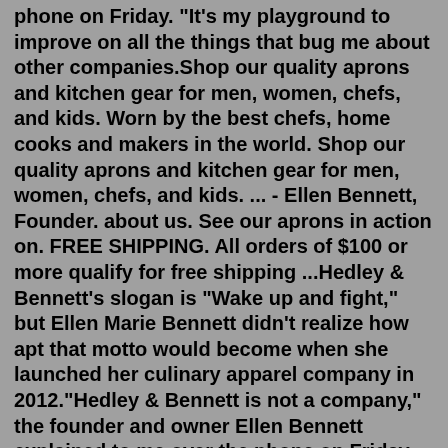phone on Friday. "It's my playground to improve on all the things that bug me about other companies.Shop our quality aprons and kitchen gear for men, women, chefs, and kids. Worn by the best chefs, home cooks and makers in the world. Shop our quality aprons and kitchen gear for men, women, chefs, and kids. ... - Ellen Bennett, Founder. about us. See our aprons in action on. FREE SHIPPING. All orders of $100 or more qualify for free shipping ...Hedley & Bennett's slogan is "Wake up and fight," but Ellen Marie Bennett didn't realize how apt that motto would become when she launched her culinary apparel company in 2012."Hedley & Bennett is not a company," the founder and owner Ellen Bennett explained to me over the phone on Friday. "It's my playground to improve on all the things that bug me about other companies.Hedley & Bennett began in Ellen's garage with $300 and a brilliant idea—make long-lasting, functional, and stylish aprons. As a former line cook, Ellen found her uniform to be